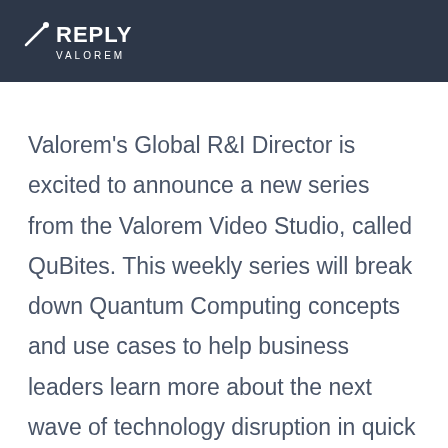REPLY VALOREM
Valorem's Global R&I Director is excited to announce a new series from the Valorem Video Studio, called QuBites. This weekly series will break down Quantum Computing concepts and use cases to help business leaders learn more about the next wave of technology disruption in quick and easy to consume segments. In each episode, we'll invite experts to discuss varying Quantum Computing